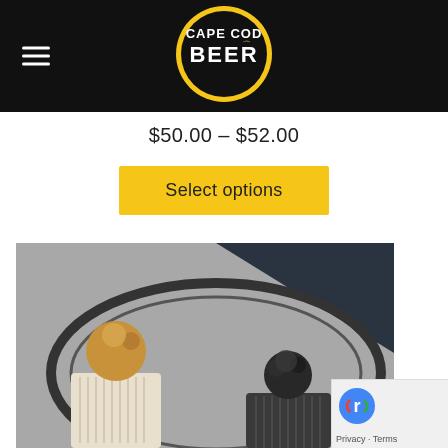[Figure (logo): Cape Cod Beer circular logo with yellow ring on black background]
$50.00 – $52.00
Select options
[Figure (photo): Two pom-pom winter beanies on a wooden barrel — one cream/white with tan pom, one dark grey/charcoal with dark pom — photographed from above on grey and navy blue background]